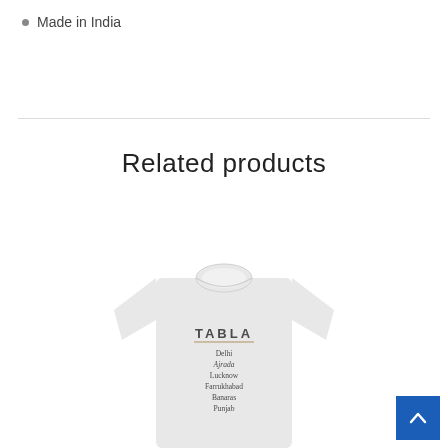Made in India
Related products
[Figure (photo): A light grey long-sleeve t-shirt with 'TABLA' printed on the chest area, followed by text listing Delhi, Ajrada, Lucknow, Farrukhabad, Banaras, Punjab]